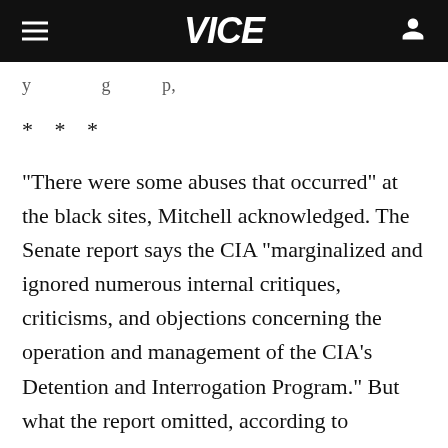VICE
* * *
"There were some abuses that occurred" at the black sites, Mitchell acknowledged. The Senate report says the CIA "marginalized and ignored numerous internal critiques, criticisms, and objections concerning the operation and management of the CIA's Detention and Interrogation Program." But what the report omitted, according to Mitchell, is that he and Jessen were the unnamed interrogators identified in the Senate report who raised many